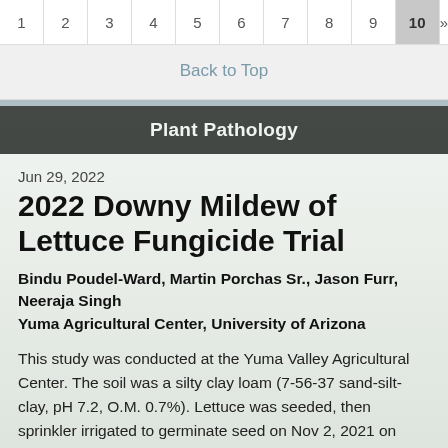1 2 3 4 5 6 7 8 9 10 »
Back to Top
Plant Pathology
Jun 29, 2022
2022 Downy Mildew of Lettuce Fungicide Trial
Bindu Poudel-Ward, Martin Porchas Sr., Jason Furr, Neeraja Singh
Yuma Agricultural Center, University of Arizona
This study was conducted at the Yuma Valley Agricultural Center. The soil was a silty clay loam (7-56-37 sand-silt-clay, pH 7.2, O.M. 0.7%). Lettuce was seeded, then sprinkler irrigated to germinate seed on Nov 2, 2021 on